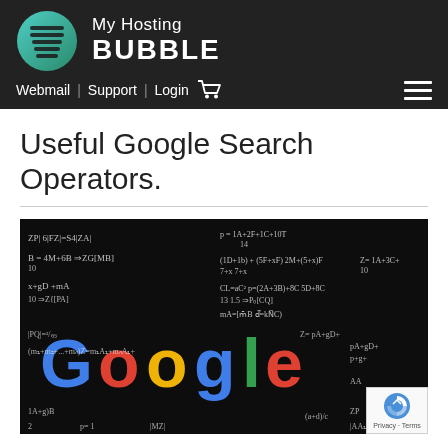My Hosting BUBBLE | Webmail | Support | Login
Useful Google Search Operators.
[Figure (photo): Black chalkboard with math equations and the Google logo overlaid in multicolor letters (blue, red, yellow, green)]